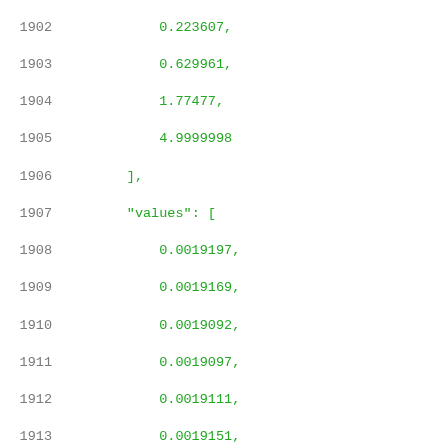Code listing lines 1902-1923 showing JSON/data structure with numeric values for index arrays and values arrays, and rise_power,power_inputs_1 key.